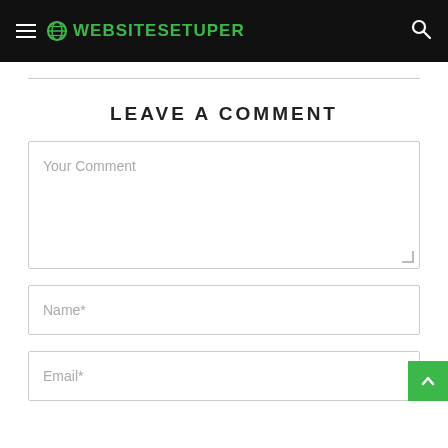WEBSITESETUPER
LEAVE A COMMENT
Your Comment
Name*
Email*